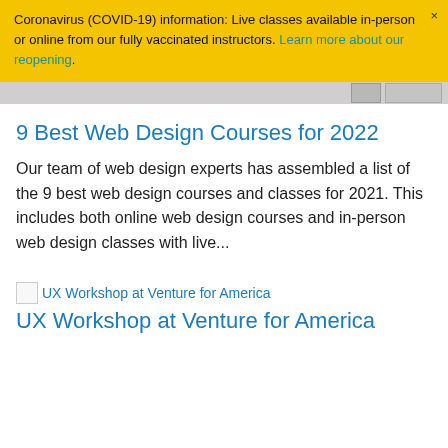Coronavirus (COVID-19) information: Live classes available in-person or online from our fully vaccinated instructors. Learn more about our reopening.
9 Best Web Design Courses for 2022
Our team of web design experts has assembled a list of the 9 best web design courses and classes for 2021. This includes both online web design courses and in-person web design classes with live...
[Figure (photo): Broken image thumbnail for UX Workshop at Venture for America]
UX Workshop at Venture for America